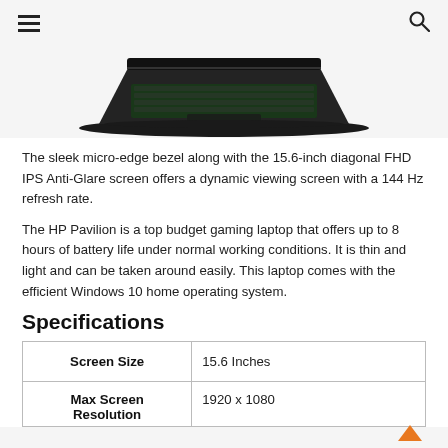≡  🔍
[Figure (photo): HP Pavilion gaming laptop viewed from front-bottom angle, showing green-backlit keyboard against dark chassis]
The sleek micro-edge bezel along with the 15.6-inch diagonal FHD IPS Anti-Glare screen offers a dynamic viewing screen with a 144 Hz refresh rate.
The HP Pavilion is a top budget gaming laptop that offers up to 8 hours of battery life under normal working conditions. It is thin and light and can be taken around easily. This laptop comes with the efficient Windows 10 home operating system.
Specifications
|  |  |
| --- | --- |
| Screen Size | 15.6 Inches |
| Max Screen Resolution | 1920 x 1080 |